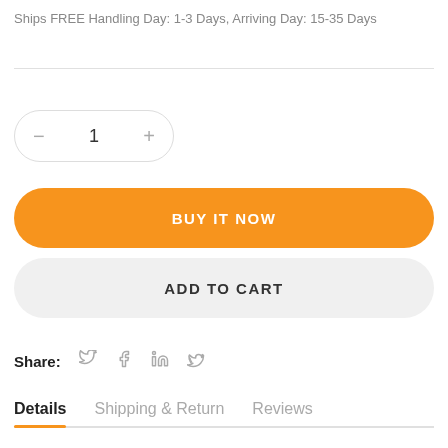Ships FREE Handling Day: 1-3 Days, Arriving Day: 15-35 Days
BUY IT NOW
ADD TO CART
Share:
Details   Shipping & Return   Reviews